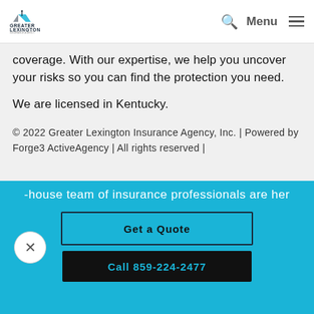[Figure (logo): Greater Lexington Insurance Agency logo]
Menu
coverage. With our expertise, we help you uncover your risks so you can find the protection you need.

We are licensed in Kentucky.
© 2022 Greater Lexington Insurance Agency, Inc. | Powered by Forge3 ActiveAgency | All rights reserved |
-house team of insurance professionals are her
Get a Quote
Call 859-224-2477